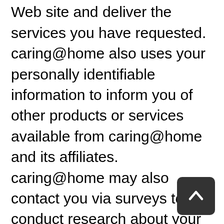to operate the caring@home Web site and deliver the services you have requested. caring@home also uses your personally identifiable information to inform you of other products or services available from caring@home and its affiliates. caring@home may also contact you via surveys to conduct research about your opinion of current services or of potential new services that may be offered.
caring@home does not sell, rent or lease its customer lists to third parties. caring@home may, from time to time, contact you on behalf of external business partners about a particular offering that may be of interest to you. In those cases, your unique personally identifiable information (e-mail, name, address, telephone number) is not transferred to the third party. In addition, caring@home may share data with trusted partners to help us perform statistical analysis, send you email or postal mail, provide customer support, or arrange for